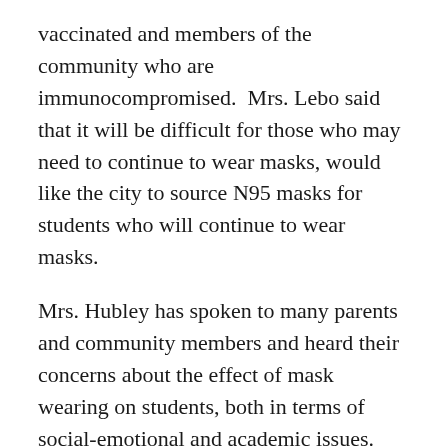vaccinated and members of the community who are immunocompromised.  Mrs. Lebo said that it will be difficult for those who may need to continue to wear masks, would like the city to source N95 masks for students who will continue to wear masks.
Mrs. Hubley has spoken to many parents and community members and heard their concerns about the effect of mask wearing on students, both in terms of social-emotional and academic issues.
Mrs. Cahill thanked the large number of parents and community members who communicated with School Committee on this issue.
Mayor Koch said that we have all been through a lot, all of the Quincy Public Schools staff came together to make difficult decisions...